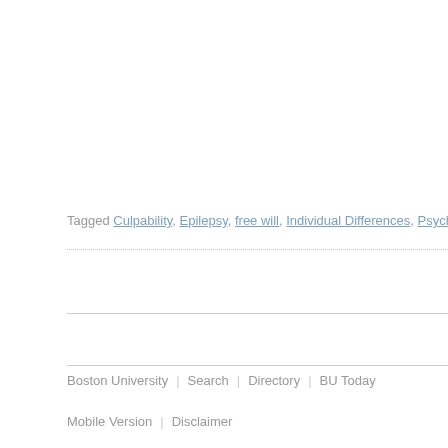Tagged Culpability, Epilepsy, free will, Individual Differences, Psychiatry,
Boston University | Search | Directory | BU Today
Mobile Version | Disclaimer